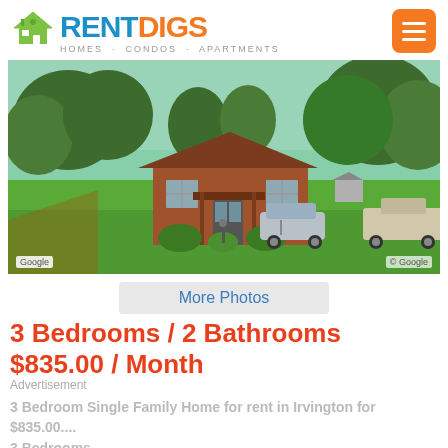[Figure (logo): RentDigs logo with green house icon, blue RENT and orange DIGS text, tagline HOMES · CONDOS · APARTMENTS]
[Figure (photo): Street view photo of a single-family brick home with large green yard, trees in background, car parked to the left, truck to the right. Google watermark visible bottom left and right.]
More Photos
3 Bedrooms / 2 Bathrooms $835.00 / Month
Advertisement
3 Bedroom Single Family Home for rent in Irvington for $835.00....
3 Bedrooms